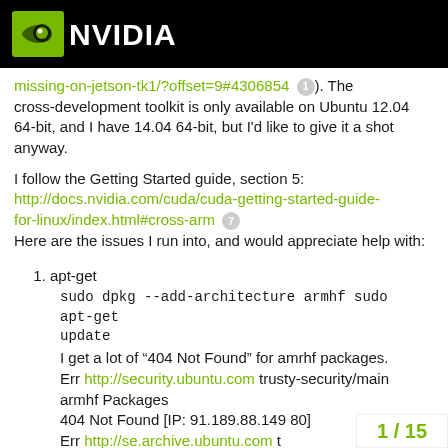[Figure (logo): NVIDIA logo — green eye icon and white NVIDIA wordmark on black background]
missing-on-jetson-tk1/?offset=9#4306854 (1). The cross-development toolkit is only available on Ubuntu 12.04 64-bit, and I have 14.04 64-bit, but I'd like to give it a shot anyway.
I follow the Getting Started guide, section 5: http://docs.nvidia.com/cuda/cuda-getting-started-guide-for-linux/index.html#cross-arm (7) Here are the issues I run into, and would appreciate help with:
apt-get
sudo dpkg --add-architecture armhf sudo apt-get update
I get a lot of "404 Not Found" for amrhf packages.
Err http://security.ubuntu.com trusty-security/main armhf Packages
404 Not Found [IP: 91.189.88.149 80]
Err http://se.archive.ubuntu.com t... Pa...
1 / 15